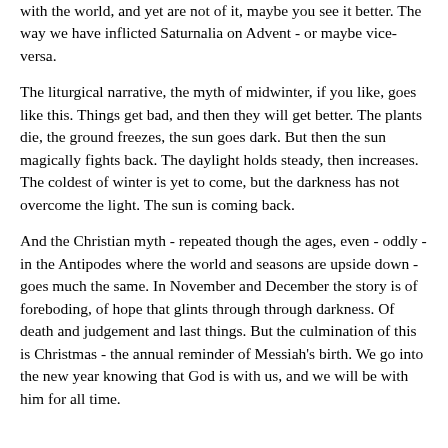with the world, and yet are not of it, maybe you see it better. The way we have inflicted Saturnalia on Advent - or maybe vice-versa.
The liturgical narrative, the myth of midwinter, if you like, goes like this. Things get bad, and then they will get better. The plants die, the ground freezes, the sun goes dark. But then the sun magically fights back. The daylight holds steady, then increases. The coldest of winter is yet to come, but the darkness has not overcome the light. The sun is coming back.
And the Christian myth - repeated though the ages, even - oddly - in the Antipodes where the world and seasons are upside down - goes much the same. In November and December the story is of foreboding, of hope that glints through through darkness. Of death and judgement and last things. But the culmination of this is Christmas - the annual reminder of Messiah's birth. We go into the new year knowing that God is with us, and we will be with him for all time.